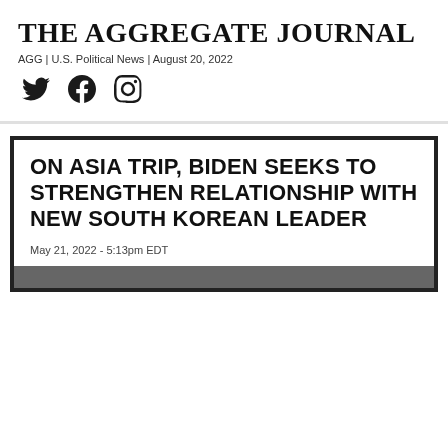THE AGGREGATE JOURNAL
AGG | U.S. Political News | August 20, 2022
[Figure (other): Social media icons: Twitter, Facebook, Instagram]
ON ASIA TRIP, BIDEN SEEKS TO STRENGTHEN RELATIONSHIP WITH NEW SOUTH KOREAN LEADER
May 21, 2022 - 5:13pm EDT
[Figure (photo): Partial photo at bottom of article card]